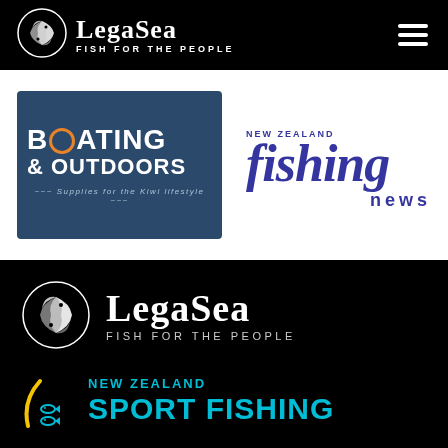[Figure (logo): LegaSea - Fish For The People logo with two fish in a circle on black navigation bar]
[Figure (logo): Boating & Outdoors - Supplies for the Kiwi lifestyle logo on dark blue background]
[Figure (logo): New Zealand Fishing News logo in blue italic text]
[Figure (logo): LegaSea - Fish For The People large logo on black background]
[Figure (logo): New Zealand Sport Fishing logo with yellow arc and cyan text on black background]